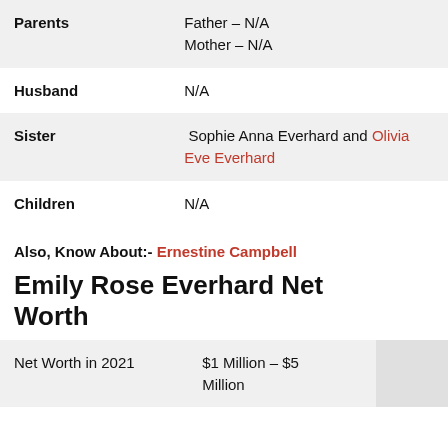| Field | Value |
| --- | --- |
| Parents | Father – N/A
Mother – N/A |
| Husband | N/A |
| Sister | Sophie Anna Everhard and Olivia Eve Everhard |
| Children | N/A |
Also, Know About:- Ernestine Campbell
Emily Rose Everhard Net Worth
| Field | Value |
| --- | --- |
| Net Worth in 2021 | $1 Million – $5 Million |